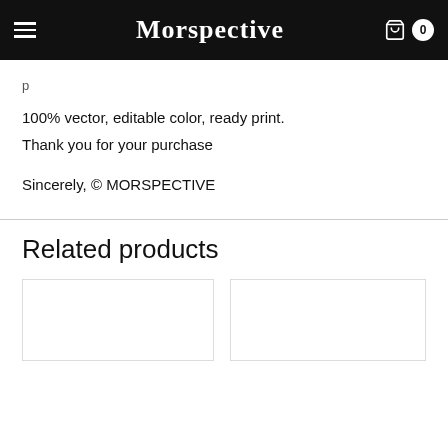Morspective — navigation header with hamburger menu and cart icon showing 0
100% vector, editable color, ready print.
Thank you for your purchase
Sincerely, © MORSPECTIVE
Related products